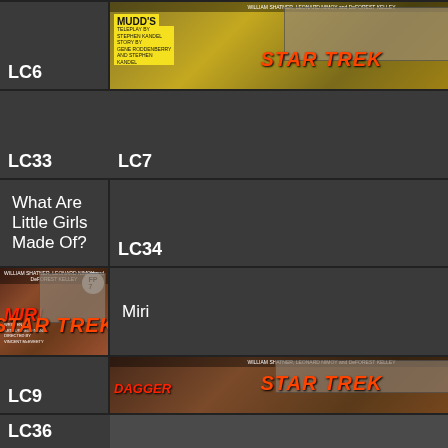LC6
[Figure (photo): Star Trek lobby card LC6 - Mudd's Women episode poster]
Mudd's Women
LC33
LC7
[Figure (photo): Star Trek lobby card LC7 - What Are Little Girls Made Of? episode poster]
What Are Little Girls Made Of?
LC34
LC8
[Figure (photo): Star Trek lobby card LC8 - Miri episode poster]
Miri
LC35
LC9
[Figure (photo): Star Trek lobby card LC9 - Dagger of the Mind episode poster]
Dagger of the Mind
LC36